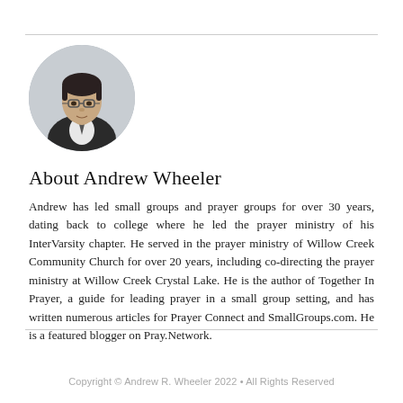[Figure (photo): Circular cropped headshot photo of Andrew Wheeler, a man wearing glasses and a dark jacket with a tie, against a light background.]
About Andrew Wheeler
Andrew has led small groups and prayer groups for over 30 years, dating back to college where he led the prayer ministry of his InterVarsity chapter. He served in the prayer ministry of Willow Creek Community Church for over 20 years, including co-directing the prayer ministry at Willow Creek Crystal Lake. He is the author of Together In Prayer, a guide for leading prayer in a small group setting, and has written numerous articles for Prayer Connect and SmallGroups.com. He is a featured blogger on Pray.Network.
Copyright © Andrew R. Wheeler 2022 • All Rights Reserved